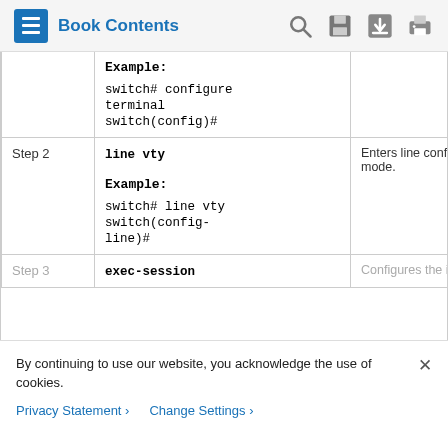Book Contents
| Step | Command | Description |
| --- | --- | --- |
|  | Example:
switch# configure terminal
switch(config)# |  |
| Step 2 | line vty

Example:
switch# line vty
switch(config-line)# | Enters line configuration mode. |
| Step 3 | exec-session | Configures the inactive |
By continuing to use our website, you acknowledge the use of cookies.
Privacy Statement > Change Settings >